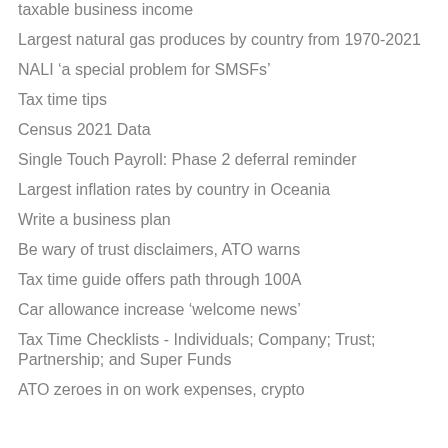taxable business income
Largest natural gas produces by country from 1970-2021
NALI 'a special problem for SMSFs'
Tax time tips
Census 2021 Data
Single Touch Payroll: Phase 2 deferral reminder
Largest inflation rates by country in Oceania
Write a business plan
Be wary of trust disclaimers, ATO warns
Tax time guide offers path through 100A
Car allowance increase ‘welcome news’
Tax Time Checklists - Individuals; Company; Trust; Partnership; and Super Funds
ATO zeroes in on work expenses, crypto